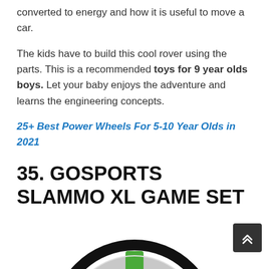converted to energy and how it is useful to move a car.
The kids have to build this cool rover using the parts. This is a recommended toys for 9 year olds boys. Let your baby enjoys the adventure and learns the engineering concepts.
25+ Best Power Wheels For 5-10 Year Olds in 2021
35. GOSPORTS SLAMMO XL GAME SET
[Figure (photo): Partial view of a circular game set (GoSports Slammo XL) showing black outer ring with green and grey netting, visible from the bottom portion of the page.]